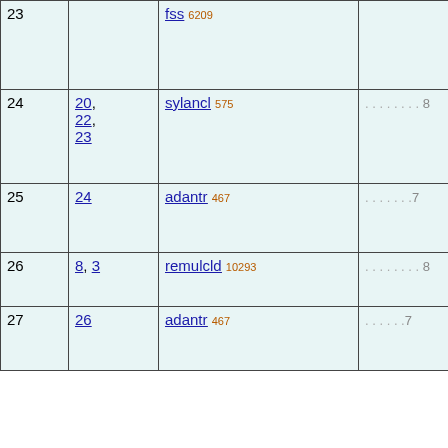| # | Refs | Name | Dots |
| --- | --- | --- | --- |
| 23 |  | fss 6209 |  |
| 24 | 20, 22, 23 | sylancl 575 | ........ 8 |
| 25 | 24 | adantr 467 | ....... 7 |
| 26 | 8, 3 | remulcld 10293 | ........ 8 |
| 27 | 26 | adantr 467 | ...... 7 |
| 28 |  | itg2lecl 23746 | ....... 7 |
| 29 | 25, 27, 12, 28 | syl3anc 1480 | ..... 6 |
| 30 | 11 | rpreccld 12102 | ..... 6 |